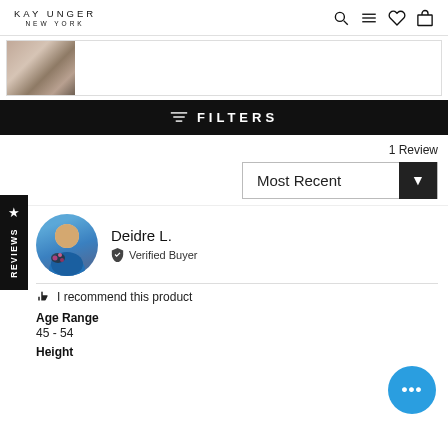KAY UNGER NEW YORK
[Figure (photo): Product thumbnail image of a patterned garment]
FILTERS
1 Review
Most Recent
Deidre L.
Verified Buyer
I recommend this product
Age Range
45 - 54
Height